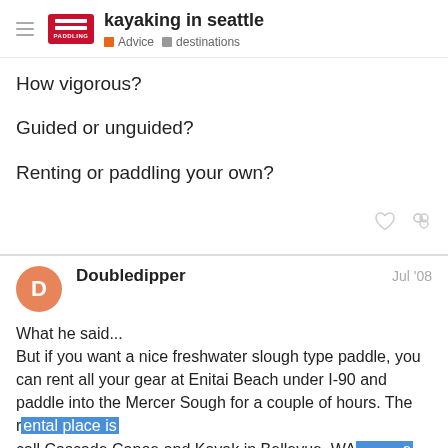kayaking in seattle — Advice destinations
How vigorous?
Guided or unguided?
Renting or paddling your own?
Doubledipper Jul '08
What he said...
But if you want a nice freshwater slough type paddle, you can rent all your gear at Enitai Beach under I-90 and paddle into the Mercer Sough for a couple of hours. The rental place is call Cascade Canoe and Kayak in Bellevue, WA. It unusual not to see herons, kingfishers, eagles, turtles, otters assorted ducks and native birdlife. The pl life. Google Mercer Slough for more info.